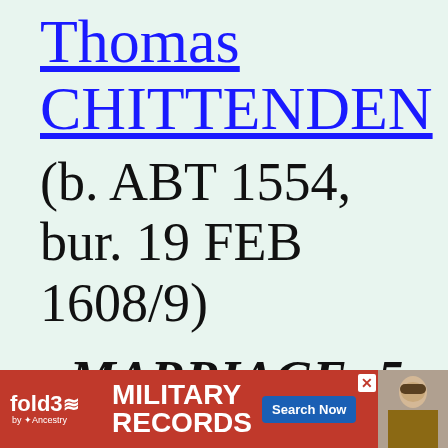Thomas CHITTENDEN
(b. ABT 1554, bur. 19 FEB 1608/9)
MARRIAGE: 5 JUN 1575
[Figure (screenshot): fold3 by Ancestry advertisement banner for Military Records with Search Now button]